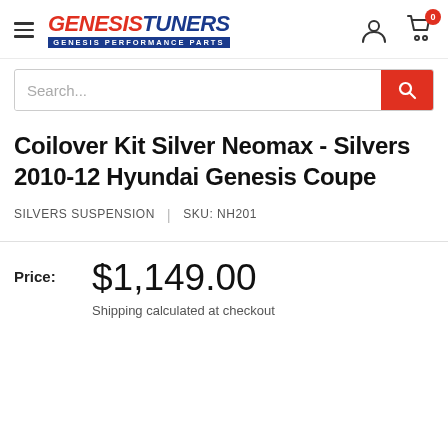[Figure (logo): GenesisisTuners logo with hamburger menu, user icon, and cart icon with badge showing 0]
Search...
Coilover Kit Silver Neomax - Silvers 2010-12 Hyundai Genesis Coupe
SILVERS SUSPENSION | SKU: NH201
Price: $1,149.00
Shipping calculated at checkout